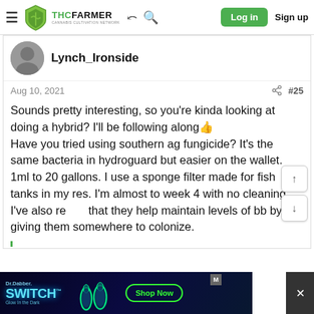THC FARMER — CANNABIS CULTIVATION NETWORK — Log in | Sign up
Lynch_Ironside
Aug 10, 2021  #25
Sounds pretty interesting, so you're kinda looking at doing a hybrid? I'll be following along 👍 Have you tried using southern ag fungicide? It's the same bacteria in hydroguard but easier on the wallet. 1ml to 20 gallons. I use a sponge filter made for fish tanks in my res. I'm almost to week 4 with no cleaning. I've also read that they help maintain levels of bb by giving them somewhere to colonize.
[Figure (screenshot): Dr.Dabber SWITCH advertisement banner with neon green glowing bottles on dark background, Shop Now button]